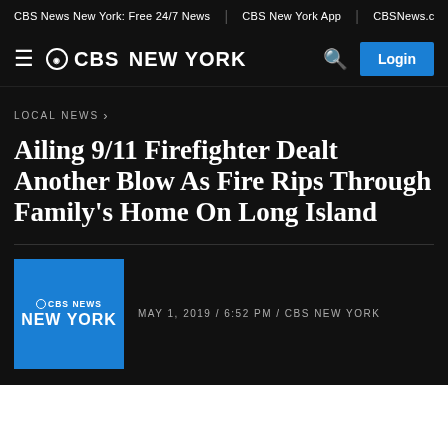CBS News New York: Free 24/7 News | CBS New York App | CBSNews.c
[Figure (logo): CBS New York logo with hamburger menu, search icon, and Login button on dark background]
LOCAL NEWS ›
Ailing 9/11 Firefighter Dealt Another Blow As Fire Rips Through Family’s Home On Long Island
MAY 1, 2019 / 6:52 PM / CBS NEW YORK